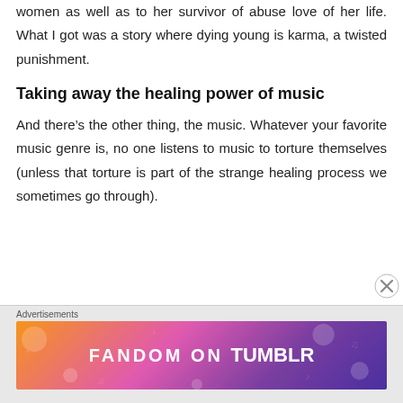women as well as to her survivor of abuse love of her life. What I got was a story where dying young is karma, a twisted punishment.
Taking away the healing power of music
And there’s the other thing, the music. Whatever your favorite music genre is, no one listens to music to torture themselves (unless that torture is part of the strange healing process we sometimes go through).
[Figure (other): Fandom on Tumblr advertisement banner with colorful gradient background (orange to purple) and white text reading FANDOM ON tumblr with decorative music and fandom icons]
Advertisements